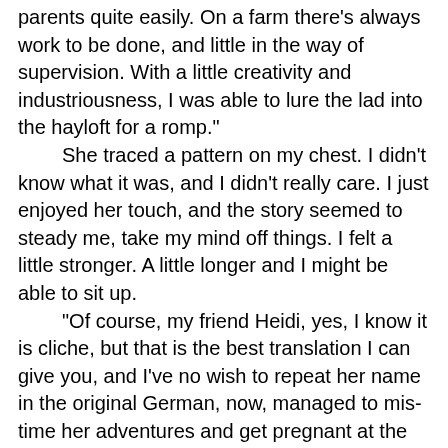parents quite easily. On a farm there's always work to be done, and little in the way of supervision. With a little creativity and industriousness, I was able to lure the lad into the hayloft for a romp."
    She traced a pattern on my chest. I didn't know what it was, and I didn't really care. I just enjoyed her touch, and the story seemed to steady me, take my mind off things. I felt a little stronger. A little longer and I might be able to sit up.
    "Of course, my friend Heidi, yes, I know it is cliche, but that is the best translation I can give you, and I've no wish to repeat her name in the original German, now, managed to mis-time her adventures and get pregnant at the age of fifteen. She was married immediately to cover her shame, and at a great loss to the family for her dowry was not as high as it should have been. I, on the other hand, was a spinster by the age of sixteen, spurning the attentions of some of the boys as I had no wish to be tied down by the likes of them. I had my sights set on another man, from a wealthier family. He was the son of burgher, and I knew that a little wealth would do well by me, and so I set about trying to gain his notice.
    "Women today have no sense of subtlety. Even what I did to get his notice seems crude and blunt to. Of...